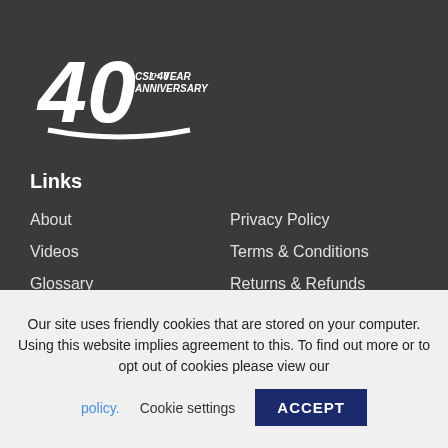[Figure (logo): CSL 40th Year Anniversary logo — large white '40' numeral with swoosh underline and 'CSL 40TH YEAR ANNIVERSARY' text to the right]
Links
About
Privacy Policy
Videos
Terms & Conditions
Glossary
Returns & Refunds
Downloads
Sitemap
Contact
Our site uses friendly cookies that are stored on your computer. Using this website implies agreement to this. To find out more or to opt out of cookies please view our policy. Cookie settings ACCEPT